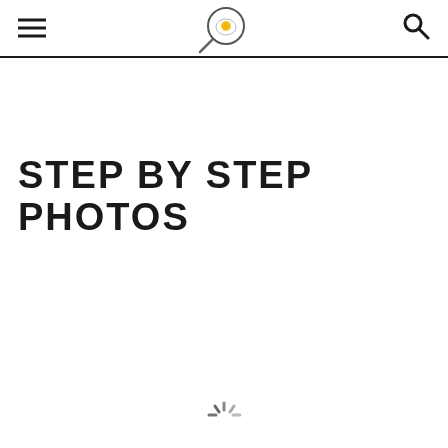STEP BY STEP PHOTOS
[Figure (other): Loading spinner icon at bottom center of page]